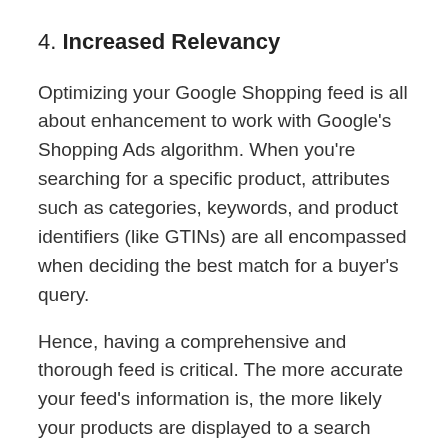4. Increased Relevancy
Optimizing your Google Shopping feed is all about enhancement to work with Google's Shopping Ads algorithm. When you're searching for a specific product, attributes such as categories, keywords, and product identifiers (like GTINs) are all encompassed when deciding the best match for a buyer's query.
Hence, having a comprehensive and thorough feed is critical. The more accurate your feed's information is, the more likely your products are displayed to a search query. If you've fully optimized your feed down, your product